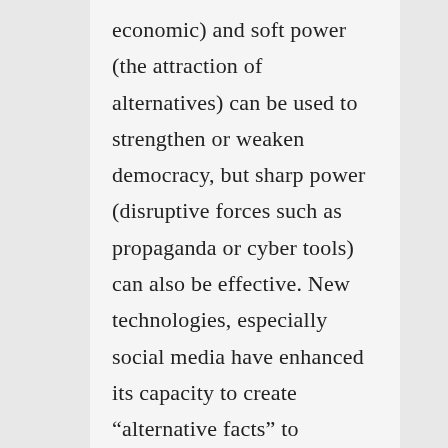economic) and soft power (the attraction of alternatives) can be used to strengthen or weaken democracy, but sharp power (disruptive forces such as propaganda or cyber tools) can also be effective. New technologies, especially social media have enhanced its capacity to create “alternative facts” to undermine the